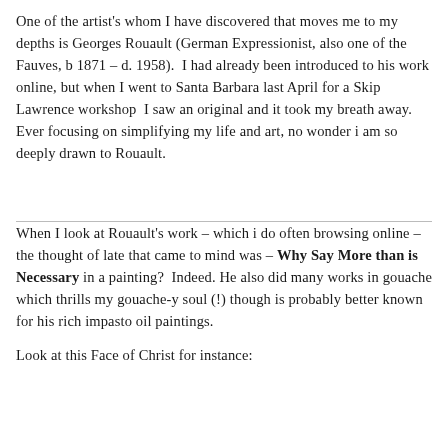One of the artist's whom I have discovered that moves me to my depths is Georges Rouault (German Expressionist, also one of the Fauves, b 1871 – d. 1958).  I had already been introduced to his work online, but when I went to Santa Barbara last April for a Skip Lawrence workshop  I saw an original and it took my breath away. Ever focusing on simplifying my life and art, no wonder i am so deeply drawn to Rouault.
When I look at Rouault's work – which i do often browsing online – the thought of late that came to mind was – Why Say More than is Necessary in a painting?  Indeed. He also did many works in gouache which thrills my gouache-y soul (!) though is probably better known for his rich impasto oil paintings.
Look at this Face of Christ for instance: